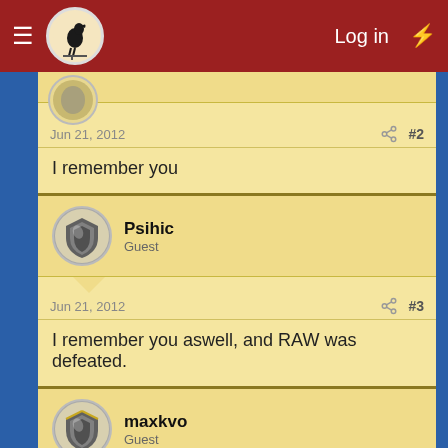Log in
Jun 21, 2012  #2
I remember you
Psihic
Guest
Jun 21, 2012  #3
I remember you aswell, and RAW was defeated.
maxkvo
Guest
Jun 22, 2012  #4
If it wasn't Hibakusha turned inactive caused by an accident in real live, DNS woudn't even be here.